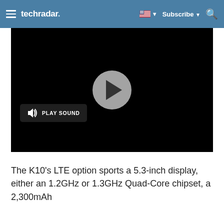techradar
[Figure (screenshot): Video player with black background, a gray circular play button in the center, and a 'PLAY SOUND' button with speaker icon in the lower left]
The K10's LTE option sports a 5.3-inch display, either an 1.2GHz or 1.3GHz Quad-Core chipset, a 2,300mAh